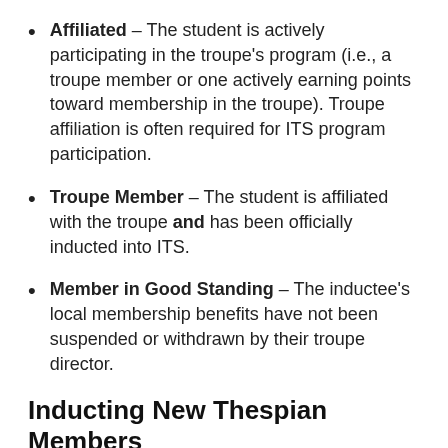Affiliated – The student is actively participating in the troupe's program (i.e., a troupe member or one actively earning points toward membership in the troupe). Troupe affiliation is often required for ITS program participation.
Troupe Member – The student is affiliated with the troupe and has been officially inducted into ITS.
Member in Good Standing – The inductee's local membership benefits have not been suspended or withdrawn by their troupe director.
Inducting New Thespian Members
Troupes with active membership status may induct new members as often as they choose. The troupe fee below the troupe. Thespian